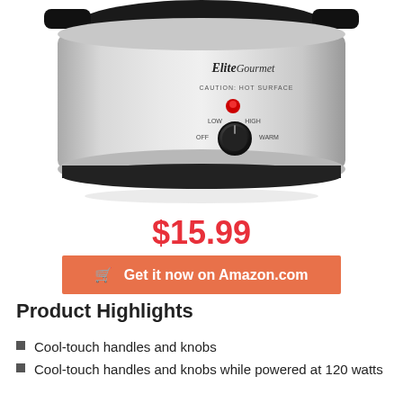[Figure (photo): Elite Gourmet slow cooker with stainless steel exterior, black lid and handles, red indicator light, and rotary knob with OFF/LOW/HIGH/WARM settings. CAUTION: HOT SURFACE label visible.]
$15.99
Get it now on Amazon.com
Product Highlights
Cool-touch handles and knobs
Cool-touch handles and knobs while powered at 120 watts